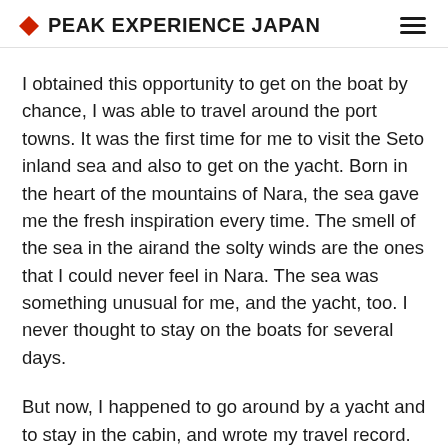PEAK EXPERIENCE JAPAN
I obtained this opportunity to get on the boat by chance, I was able to travel around the port towns. It was the first time for me to visit the Seto inland sea and also to get on the yacht. Born in the heart of the mountains of Nara, the sea gave me the fresh inspiration every time. The smell of the sea in the airand the solty winds are the ones that I could never feel in Nara. The sea was something unusual for me, and the yacht, too. I never thought to stay on the boats for several days.
But now, I happened to go around by a yacht and to stay in the cabin, and wrote my travel record. It was miraculous. In fact, staying on the yacht was not comfortable than being in the car or ferry. Honestly saying, it was not very pleasant. I felt myself swaying in the little cabin, and I needed to save